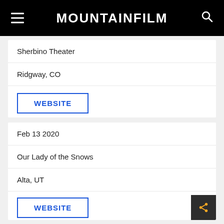MOUNTAINFILM
Sherbino Theater
Ridgway, CO
WEBSITE
Feb 13 2020
Our Lady of the Snows
Alta, UT